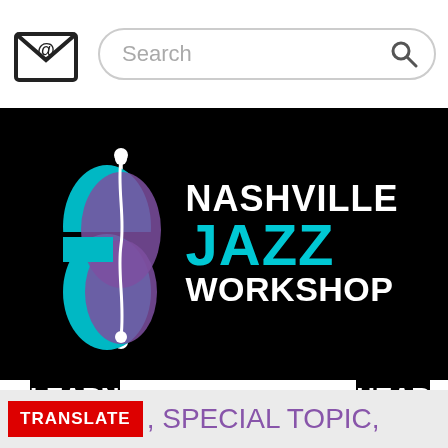[Figure (screenshot): Top navigation bar with email icon on left and search box on right]
[Figure (logo): Nashville Jazz Workshop logo on black background featuring a stylized double bass in teal and purple colors with white f-hole S-curve, alongside bold text: NASHVILLE in white, JAZZ in teal/cyan, WORKSHOP in white]
LEARN
ABOUT
HEAR
DONATE
TRANSLATE
, SPECIAL TOPIC,